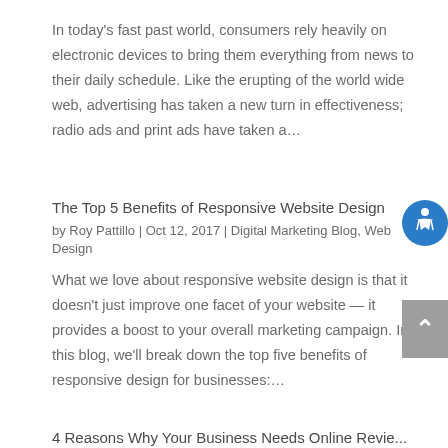In today's fast past world, consumers rely heavily on electronic devices to bring them everything from news to their daily schedule. Like the erupting of the world wide web, advertising has taken a new turn in effectiveness; radio ads and print ads have taken a…
The Top 5 Benefits of Responsive Website Design
by Roy Pattillo | Oct 12, 2017 | Digital Marketing Blog, Web Design
What we love about responsive website design is that it doesn't just improve one facet of your website — it provides a boost to your overall marketing campaign. In this blog, we'll break down the top five benefits of responsive design for businesses:…
4 Reasons Why Your Business Needs Online Reviews...